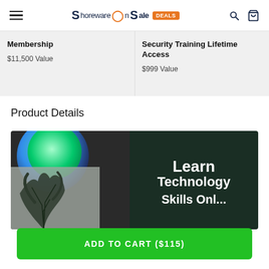ShorewareOnSale DEALS
Membership
$11,500 Value
Security Training Lifetime Access
$999 Value
Product Details
[Figure (illustration): Promotional banner for online technology learning platform, showing a plant and glittery green/blue circle on left, and 'Learn Technology Skills Online' text on dark green background on right.]
ADD TO CART ($115)